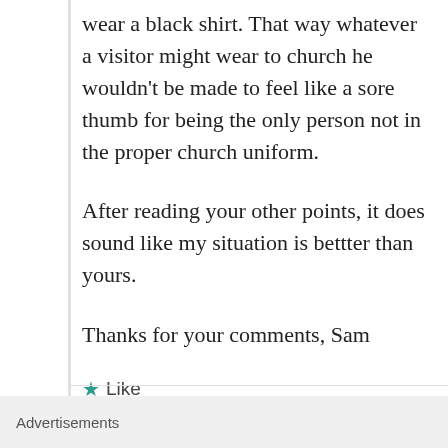wear a black shirt. That way whatever a visitor might wear to church he wouldn't be made to feel like a sore thumb for being the only person not in the proper church uniform.
After reading your other points, it does sound like my situation is bettter than yours.
Thanks for your comments, Sam
★ Like
↵ Reply
John
Advertisements